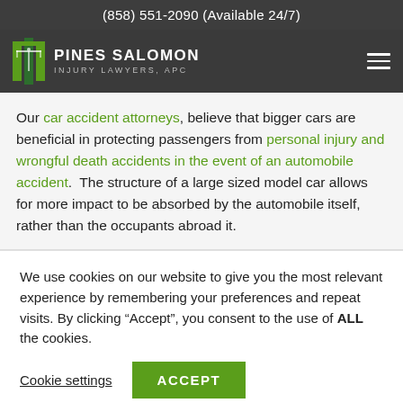(858) 551-2090 (Available 24/7)
[Figure (logo): Pines Salomon Injury Lawyers, APC logo with green pillar icon and white text on dark background]
Our car accident attorneys, believe that bigger cars are beneficial in protecting passengers from personal injury and wrongful death accidents in the event of an automobile accident.  The structure of a large sized model car allows for more impact to be absorbed by the automobile itself, rather than the occupants abroad it.
We use cookies on our website to give you the most relevant experience by remembering your preferences and repeat visits. By clicking “Accept”, you consent to the use of ALL the cookies.
Cookie settings  ACCEPT